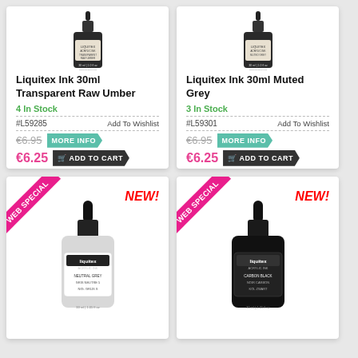[Figure (photo): Liquitex Ink 30ml Transparent Raw Umber bottle with dropper cap]
Liquitex Ink 30ml Transparent Raw Umber
4 In Stock
#L59285  Add To Wishlist
€6.95  MORE INFO  €6.25  ADD TO CART
[Figure (photo): Liquitex Ink 30ml Muted Grey bottle with dropper cap]
Liquitex Ink 30ml Muted Grey
3 In Stock
#L59301  Add To Wishlist
€6.95  MORE INFO  €6.25  ADD TO CART
[Figure (photo): Liquitex Acrylic Ink bottle - Neutral Grey, with WEB SPECIAL ribbon and NEW! label]
[Figure (photo): Liquitex Acrylic Ink bottle - Carbon Black, with WEB SPECIAL ribbon and NEW! label]